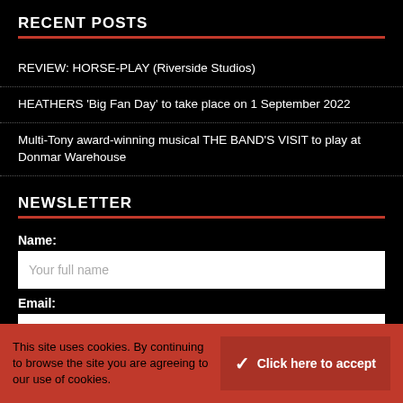RECENT POSTS
REVIEW: HORSE-PLAY (Riverside Studios)
HEATHERS 'Big Fan Day' to take place on 1 September 2022
Multi-Tony award-winning musical THE BAND'S VISIT to play at Donmar Warehouse
NEWSLETTER
Name:
Your full name
Email:
Your email address
SIGN UP
This site uses cookies. By continuing to browse the site you are agreeing to our use of cookies.
Click here to accept